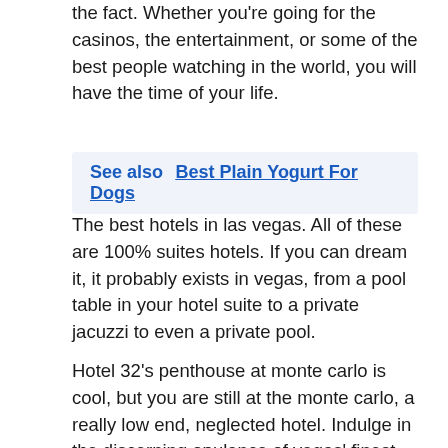the fact. Whether you're going for the casinos, the entertainment, or some of the best people watching in the world, you will have the time of your life.
See also  Best Plain Yogurt For Dogs
The best hotels in las vegas. All of these are 100% suites hotels. If you can dream it, it probably exists in vegas, from a pool table in your hotel suite to a private jacuzzi to even a private pool.
Hotel 32's penthouse at monte carlo is cool, but you are still at the monte carlo, a really low end, neglected hotel. Indulge in the discerning opulence of vegas' finest luxury